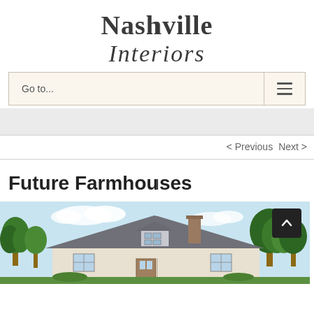Nashville Interiors
Go to...
< Previous   Next >
Future Farmhouses
[Figure (illustration): Color illustration of a farmhouse with dark grey/slate roof, chimney, dormer window, surrounded by green trees against a light blue sky]